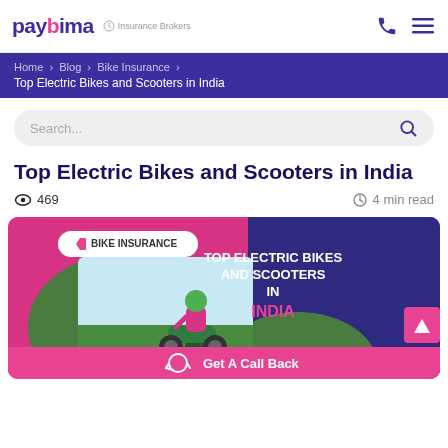payBima Insurance Brokers
Home > Blog > Bike Insurance > Top Electric Bikes and Scooters in India
Top Electric Bikes and Scooters in India
469 views · 4 min read
[Figure (illustration): Hero banner for the article 'Top Electric Bikes and Scooters in India' showing a person riding an electric scooter with a pink background. Includes a 'BIKE INSURANCE' tag and the article title 'TOP ELECTRIC BIKES AND SCOOTERS IN INDIA' on the right side. A 'Get A Call Back' bar at the bottom.]